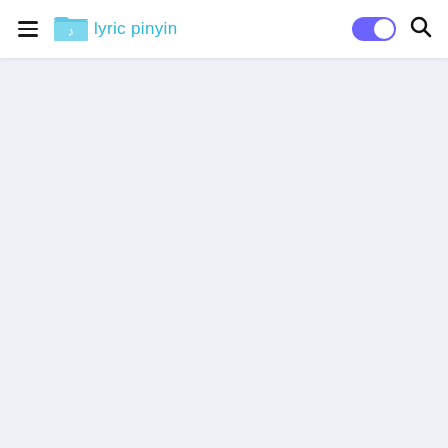[Figure (screenshot): Navigation bar of 'lyric pinyin' website with hamburger menu icon on the left, folder/music note logo and site name 'lyric pinyin' in cyan, a dark mode toggle (moon icon, purple/grey) and a search magnifying glass icon on the right. Below is a light blue-grey empty content area.]